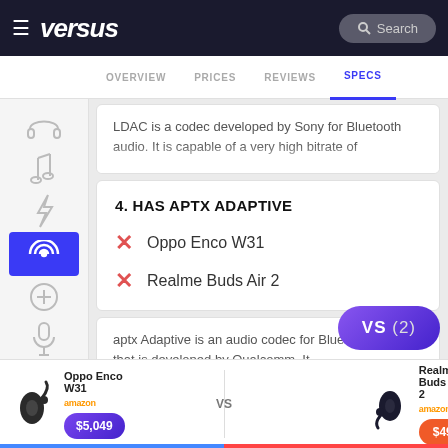versus — Search
OVERVIEW | PRICES | REVIEWS | SPECS
LDAC is a codec developed by Sony for Bluetooth audio. It is capable of a very high bitrate of
4. HAS APTX ADAPTIVE
✗ Oppo Enco W31
✗ Realme Buds Air 2
aptx Adaptive is an audio codec for Bluetooth devices that is developed by Qualcomm. It
Oppo Enco W31 vs Realme Buds Air 2 | amazon $5,049 | amazon $49